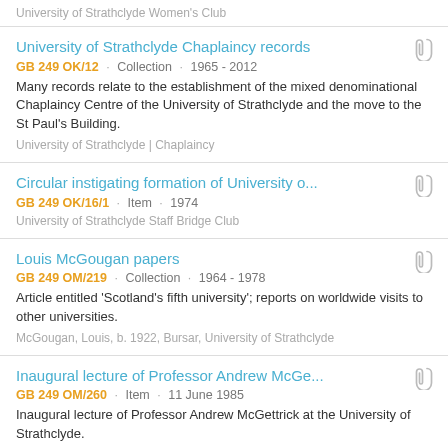University of Strathclyde Women's Club
University of Strathclyde Chaplaincy records
GB 249 OK/12 · Collection · 1965 - 2012
Many records relate to the establishment of the mixed denominational Chaplaincy Centre of the University of Strathclyde and the move to the St Paul's Building.
University of Strathclyde | Chaplaincy
Circular instigating formation of University o...
GB 249 OK/16/1 · Item · 1974
University of Strathclyde Staff Bridge Club
Louis McGougan papers
GB 249 OM/219 · Collection · 1964 - 1978
Article entitled 'Scotland's fifth university'; reports on worldwide visits to other universities.
McGougan, Louis, b. 1922, Bursar, University of Strathclyde
Inaugural lecture of Professor Andrew McGe...
GB 249 OM/260 · Item · 11 June 1985
Inaugural lecture of Professor Andrew McGettrick at the University of Strathclyde.